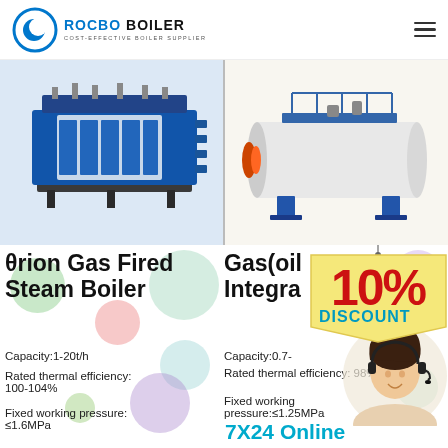[Figure (logo): Rocbo Boiler logo with blue crescent icon and text 'ROCBO BOILER / COST-EFFECTIVE BOILER SUPPLIER']
[Figure (photo): Blue industrial gas fired steam boiler unit (rectangular module design)]
[Figure (photo): White horizontal cylindrical gas/oil fired integrated boiler]
θrion Gas Fired Steam Boiler
Capacity:1-20t/h
Rated thermal efficiency: 100-104%
Fixed working pressure: ≤1.6MPa
Gas(oil Integrated
Capacity:0.7-
Rated thermal efficiency: 98%
Fixed working pressure:≤1.25MPa
[Figure (infographic): 10% DISCOUNT badge in red and blue text on yellow tag]
[Figure (photo): Customer service representative with headset]
7X24 Online